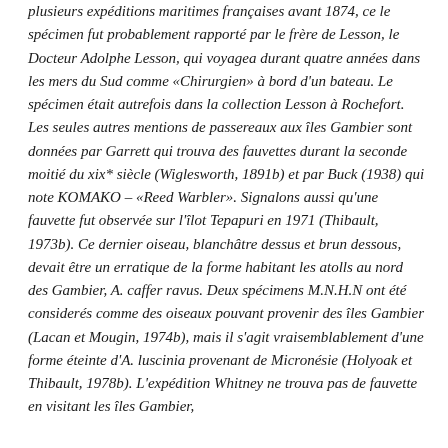plusieurs expéditions maritimes françaises avant 1874, ce le spécimen fut probablement rapporté par le frère de Lesson, le Docteur Adolphe Lesson, qui voyagea durant quatre années dans les mers du Sud comme «Chirurgien» à bord d'un bateau. Le spécimen était autrefois dans la collection Lesson à Rochefort. Les seules autres mentions de passereaux aux îles Gambier sont données par Garrett qui trouva des fauvettes durant la seconde moitié du xix* siècle (Wiglesworth, 1891b) et par Buck (1938) qui note KOMAKO – «Reed Warbler». Signalons aussi qu'une fauvette fut observée sur l'îlot Tepapuri en 1971 (Thibault, 1973b). Ce dernier oiseau, blanchâtre dessus et brun dessous, devait être un erratique de la forme habitant les atolls au nord des Gambier, A. caffer ravus. Deux spécimens M.N.H.N ont été considerés comme des oiseaux pouvant provenir des îles Gambier (Lacan et Mougin, 1974b), mais il s'agit vraisemblablement d'une forme éteinte d'A. luscinia provenant de Micronésie (Holyoak et Thibault, 1978b). L'expédition Whitney ne trouva pas de fauvette en visitant les îles Gambier, et l'état de ces dernières lors de cette même 1922 (Tucket et Quand...